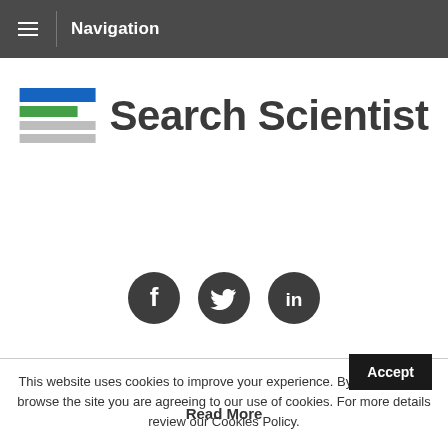Navigation
[Figure (logo): Search Scientist logo with horizontal colored bars (blue, green, grey) and text 'Search Scientist']
[Figure (infographic): Three dark circular social media icons: Facebook (f), Twitter (bird), LinkedIn (in)]
This website uses cookies to improve your experience. By continuing to browse the site you are agreeing to our use of cookies. For more details review our Cookies Policy.
Accept
Read More